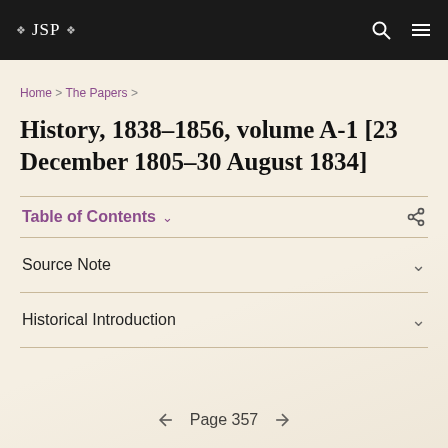❖ JSP ❖
Home > The Papers >
History, 1838–1856, volume A-1 [23 December 1805–30 August 1834]
Table of Contents
Source Note
Historical Introduction
← Page 357 →